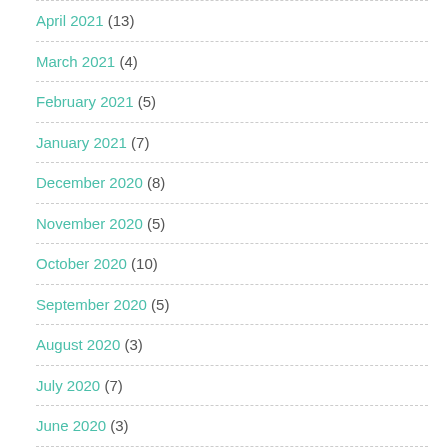April 2021 (13)
March 2021 (4)
February 2021 (5)
January 2021 (7)
December 2020 (8)
November 2020 (5)
October 2020 (10)
September 2020 (5)
August 2020 (3)
July 2020 (7)
June 2020 (3)
May 2020 (1)